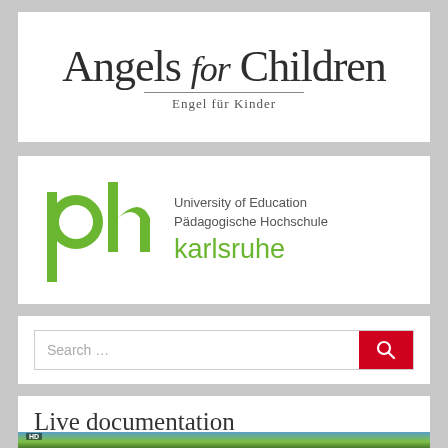[Figure (logo): Angels for Children logo with serif text and 'Engel für Kinder' subtitle]
[Figure (logo): PH Karlsruhe logo — green 'ph' symbol with University of Education / Pädagogische Hochschule karlsruhe text]
[Figure (screenshot): Search bar with 'Search ...' placeholder and red search button with magnifying glass icon]
Live documentation
[Figure (photo): HD video thumbnail showing trees and sky]